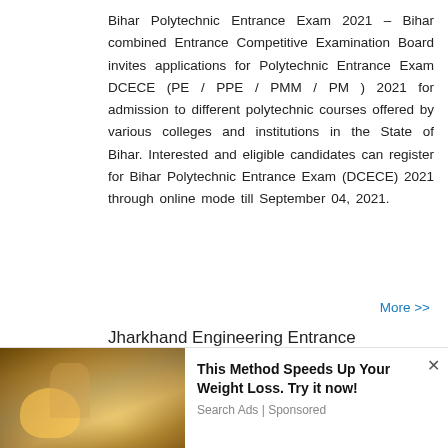Bihar Polytechnic Entrance Exam 2021 – Bihar combined Entrance Competitive Examination Board invites applications for Polytechnic Entrance Exam DCECE (PE / PPE / PMM / PM ) 2021 for admission to different polytechnic courses offered by various colleges and institutions in the State of Bihar. Interested and eligible candidates can register for Bihar Polytechnic Entrance Exam (DCECE) 2021 through online mode till September 04, 2021.
More >>
Jharkhand Engineering Entrance Competitive Examination (Lateral Entry) 2021 Application form, Dates, Eligibility, Exam Pattern
[Figure (photo): Advertisement image showing a person with citrus fruit, promoting weight loss method]
This Method Speeds Up Your Weight Loss. Try it now! Search Ads | Sponsored